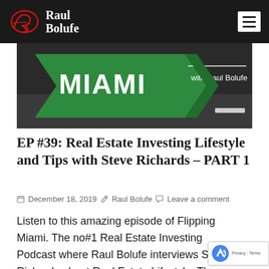Raul Bolufe
[Figure (illustration): Flipping Miami podcast banner with green arrow graphic, text MIAMI with Raul Bolufe]
EP #39: Real Estate Investing Lifestyle and Tips with Steve Richards – PART 1
December 18, 2019  Raul Bolufe  Leave a comment
Listen to this amazing episode of Flipping Miami. The no#1 Real Estate Investing Podcast where Raul Bolufe interviews Steve Richards about Real Estate Lifestyle, The Real Estate Business Fundamentals...